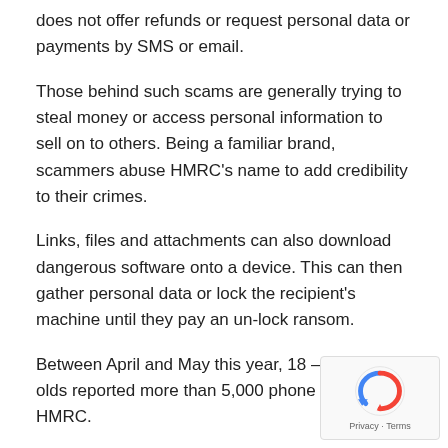does not offer refunds or request personal data or payments by SMS or email.
Those behind such scams are generally trying to steal money or access personal information to sell on to others. Being a familiar brand, scammers abuse HMRC's name to add credibility to their crimes.
Links, files and attachments can also download dangerous software onto a device. This can then gather personal data or lock the recipient's machine until they pay an un-lock ransom.
Between April and May this year, 18 – 24-year-olds reported more than 5,000 phone scams to HMRC.
[Figure (logo): reCAPTCHA badge with logo and Privacy - Terms links]